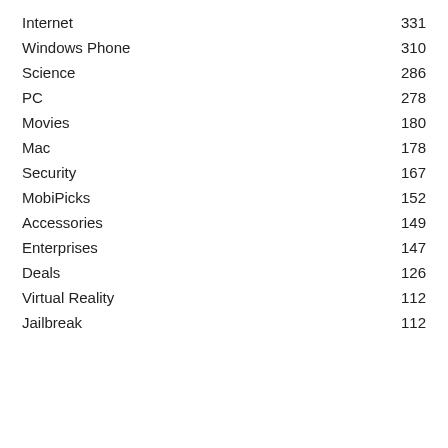Internet  331
Windows Phone  310
Science  286
PC  278
Movies  180
Mac  178
Security  167
MobiPicks  152
Accessories  149
Enterprises  147
Deals  126
Virtual Reality  112
Jailbreak  112